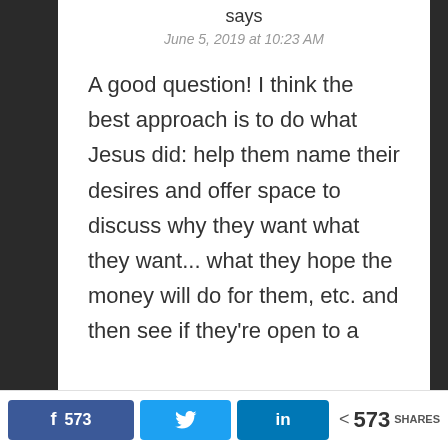says
June 5, 2019 at 10:23 AM
A good question! I think the best approach is to do what Jesus did: help them name their desires and offer space to discuss why they want what they want... what they hope the money will do for them, etc. and then see if they're open to a
f 573  [Twitter icon]  in  < 573 SHARES